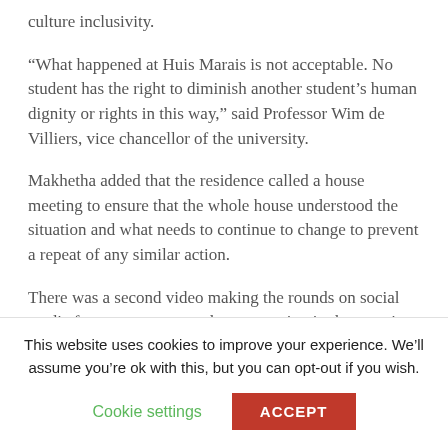culture inclusivity.
“What happened at Huis Marais is not acceptable. No student has the right to diminish another student’s human dignity or rights in this way,” said Professor Wim de Villiers, vice chancellor of the university.
Makhetha added that the residence called a house meeting to ensure that the whole house understood the situation and what needs to continue to change to prevent a repeat of any similar action.
There was a second video making the rounds on social media from an emergency house meeting in the morning. “I just want to apologise to him and to
This website uses cookies to improve your experience. We’ll assume you’re ok with this, but you can opt-out if you wish.
Cookie settings   ACCEPT